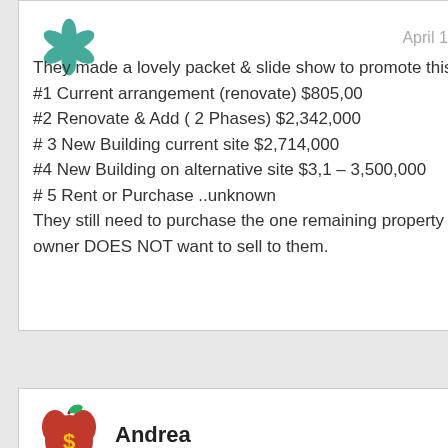April 16, 2011 at 3:45 PM
They made a lovely packet & slide show to promote this one…
#1 Current arrangement (renovate) $805,00
#2 Renovate & Add ( 2 Phases) $2,342,000
# 3 New Building current site $2,714,000
#4 New Building on alternative site $3,1 – 3,500,000
# 5 Rent or Purchase ..unknown
They still need to purchase the one remaining property and the 97yr old owner DOES NOT want to sell to them.
Reply
Andrea